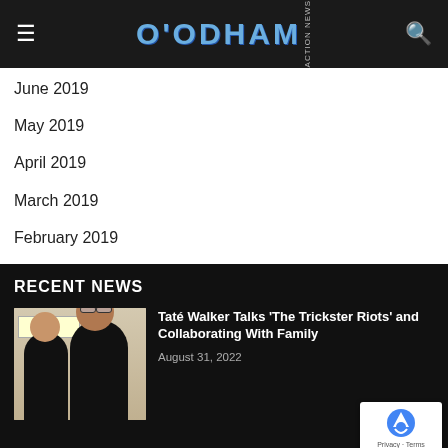O'ODHAM ACTION NEWS
June 2019
May 2019
April 2019
March 2019
February 2019
RECENT NEWS
[Figure (photo): Two women posing together, both wearing black t-shirts, one with glasses]
Taté Walker Talks 'The Trickster Riots' and Collaborating With Family
August 31, 2022